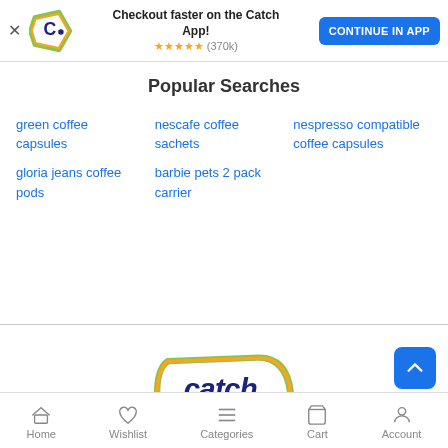[Figure (screenshot): App promotional banner with Catch logo, 'Checkout faster on the Catch App!' text, 5-star rating (370k), and CONTINUE IN APP button]
Popular Searches
green coffee capsules
nescafe coffee sachets
nespresso compatible coffee capsules
gloria jeans coffee pods
barbie pets 2 pack carrier
[Figure (logo): Catch.com.au logo — large pentagon-shaped badge with green/yellow/orange border, blue italic 'catch.' text and '.com.au' below]
Home   Wishlist   Categories   Cart   Account